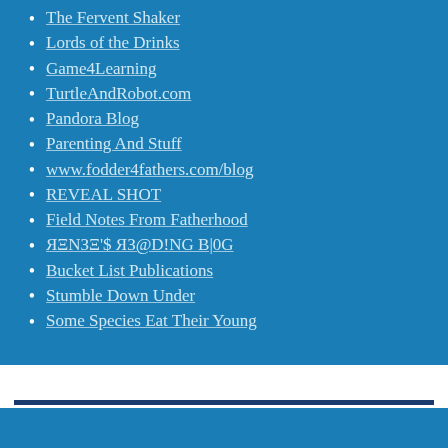The Fervent Shaker
Lords of the Drinks
Game4Learning
TurtleAndRobot.com
Pandora Blog
Parenting And Stuff
www.fodder4fathers.com/blog
REVEAL SHOT
Field Notes From Fatherhood
ЯΞΝЗΞ'$ ЯЗ@D!NG B|0G
Bucket List Publications
Stumble Down Under
Some Species Eat Their Young